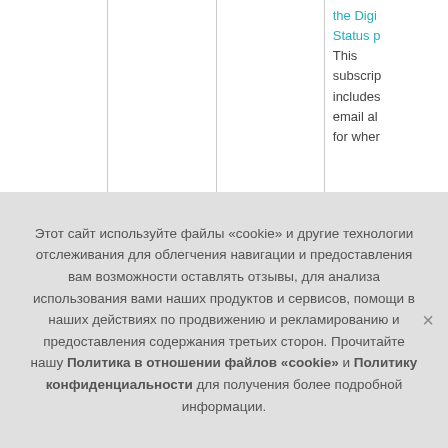|  |  |  | the Digi
Status p
This
subscrip
includes
email al
for wher |
Этот сайт используйте файлы «cookie» и другие технологии отслеживания для облегчения навигации и предоставления вам возможности оставлять отзывы, для анализа использования вами наших продуктов и сервисов, помощи в наших действиях по продвижению и рекламированию и предоставления содержания третьих сторон. Прочитайте нашу Политика в отношении файлов «cookie» и Политику конфиденциальности для получения более подробной информации.